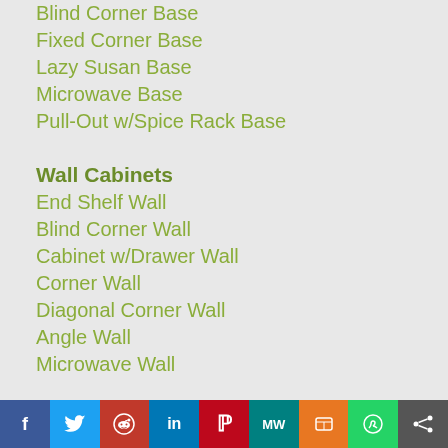Blind Corner Base
Fixed Corner Base
Lazy Susan Base
Microwave Base
Pull-Out w/Spice Rack Base
Wall Cabinets
End Shelf Wall
Blind Corner Wall
Cabinet w/Drawer Wall
Corner Wall
Diagonal Corner Wall
Angle Wall
Microwave Wall
Tall Cabinets
Oven
Pantry
Special Cabinets
Wine Rack